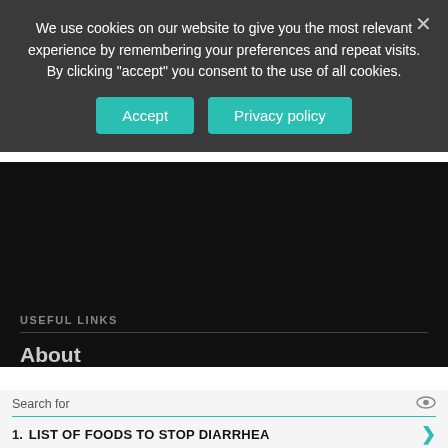We use cookies on our website to give you the most relevant experience by remembering your preferences and repeat visits. By clicking "accept" you consent to the use of all cookies.
[Figure (screenshot): Cookie consent banner with Accept and Privacy policy buttons on dark grey background]
USEFUL LINKS
About
[Figure (screenshot): Advertisement panel with search for label, two ad items: 1. LIST OF FOODS TO STOP DIARRHEA, 2. MEAL DELIVERY SERVICE NEAR ME, and footer showing Business Focus]